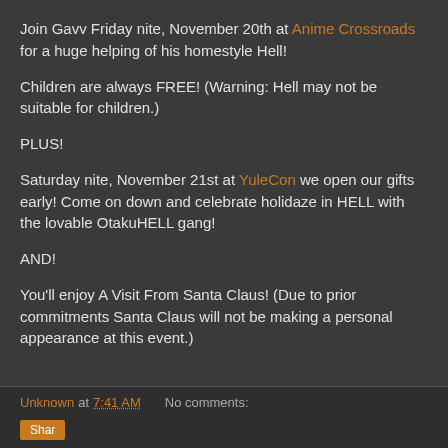Join Gavv Friday nite, November 20th at Anime Crossroads for a huge helping of his homestyle Hell!
Children are always FREE! (Warning: Hell may not be suitable for children.)
PLUS!
Saturday nite, November 21st at YuleCon we open our gifts early! Come on down and celebrate holidaze in HELL with the lovable OtakuHELL gang!
AND!
You'll enjoy A Visit From Santa Claus! (Due to prior commitments Santa Claus will not be making a personal appearance at this event.)
Unknown at 7:41 AM   No comments: